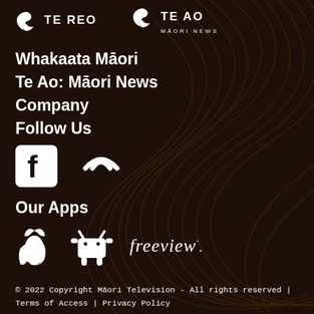[Figure (logo): Te Reo and Te Ao Māori News logos at top of footer]
Whakaata Māori
Te Ao: Māori News
Company
Follow Us
[Figure (logo): Facebook icon and another social media icon (Instagram/other)]
Our Apps
[Figure (logo): Apple App Store icon, Android/Google Play icon, and Freeview logo]
© 2022 Copyright Māori Television - All rights reserved | Terms of Access | Privacy Policy